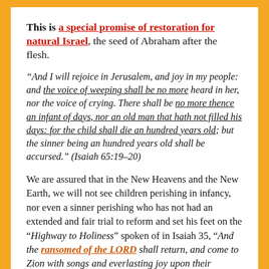This is a special promise of restoration for natural Israel, the seed of Abraham after the flesh.
“And I will rejoice in Jerusalem, and joy in my people: and the voice of weeping shall be no more heard in her, nor the voice of crying. There shall be no more thence an infant of days, nor an old man that hath not filled his days: for the child shall die an hundred years old; but the sinner being an hundred years old shall be accursed.” (Isaiah 65:19–20)
We are assured that in the New Heavens and the New Earth, we will not see children perishing in infancy, nor even a sinner perishing who has not had an extended and fair trial to reform and set his feet on the “Highway to Holiness” spoken of in Isaiah 35, “And the ransomed of the LORD shall return, and come to Zion with songs and everlasting joy upon their